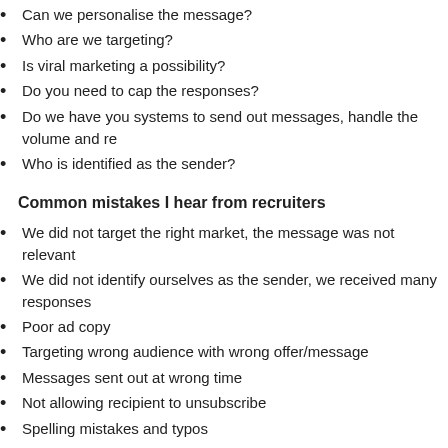Can we personalise the message?
Who are we targeting?
Is viral marketing a possibility?
Do you need to cap the responses?
Do we have you systems to send out messages, handle the volume and re
Who is identified as the sender?
Common mistakes I hear from recruiters
We did not target the right market, the message was not relevant
We did not identify ourselves as the sender, we received many responses
Poor ad copy
Targeting wrong audience with wrong offer/message
Messages sent out at wrong time
Not allowing recipient to unsubscribe
Spelling mistakes and typos
No personalisation
SMS system fails
Tips
Personalise - "Hi FIRST_NAME, just a reminder about your interview with
Always include details...